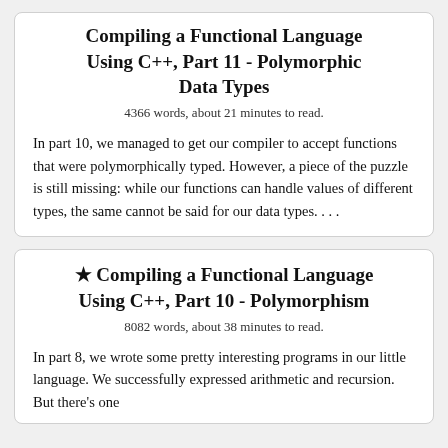Compiling a Functional Language Using C++, Part 11 - Polymorphic Data Types
4366 words, about 21 minutes to read.
In part 10, we managed to get our compiler to accept functions that were polymorphically typed. However, a piece of the puzzle is still missing: while our functions can handle values of different types, the same cannot be said for our data types. . . .
★ Compiling a Functional Language Using C++, Part 10 - Polymorphism
8082 words, about 38 minutes to read.
In part 8, we wrote some pretty interesting programs in our little language. We successfully expressed arithmetic and recursion. But there's one